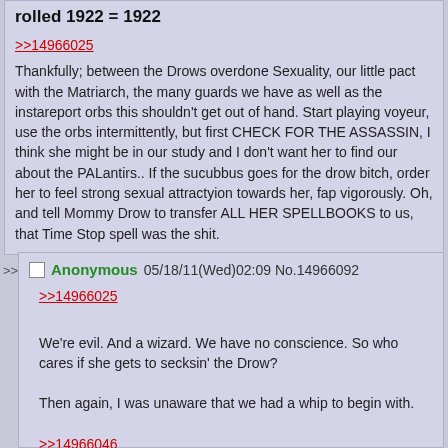rolled 1922 = 1922
>>14966025
Thankfully; between the Drows overdone Sexuality, our little pact with the Matriarch, the many guards we have as well as the instareport orbs this shouldn't get out of hand. Start playing voyeur, use the orbs intermittently, but first CHECK FOR THE ASSASSIN, I think she might be in our study and I don't want her to find our about the PALantirs.. If the sucubbus goes for the drow bitch, order her to feel strong sexual attractyion towards her, fap vigorously. Oh, and tell Mommy Drow to transfer ALL HER SPELLBOOKS to us, that Time Stop spell was the shit.
Anonymous 05/18/11(Wed)02:09 No.14966092
>>14966025
We're evil. And a wizard. We have no conscience. So who cares if she gets to secksin' the Drow?

Then again, I was unaware that we had a whip to begin with.

>>14966046
Why would we need to bind her? I mean binding is if they resist. Why would she? Or rather, HOW would she?